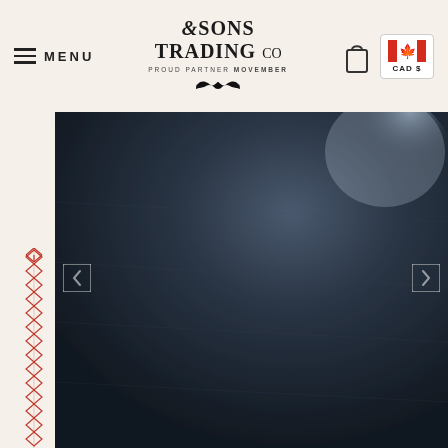MENU | &SONS TRADING CO | PROUD PARTNER MOVEMBER | CAD $
[Figure (photo): Close-up macro photograph of dark navy blue textured leather or fabric material with light bokeh in upper right corner. Navigation arrows visible on left and right edges.]
[Figure (illustration): Red decorative stitching pattern running vertically along the left side of the page below the main image area.]